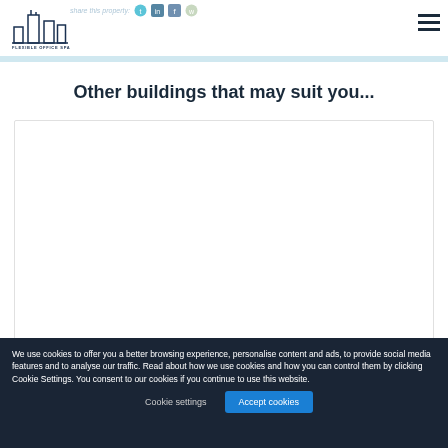Flexible Office Space — share this property: [social icons] [menu]
Other buildings that may suit you...
[Figure (other): White card/placeholder area for property listings]
We use cookies to offer you a better browsing experience, personalise content and ads, to provide social media features and to analyse our traffic. Read about how we use cookies and how you can control them by clicking Cookie Settings. You consent to our cookies if you continue to use this website.
Cookie settings    Accept cookies